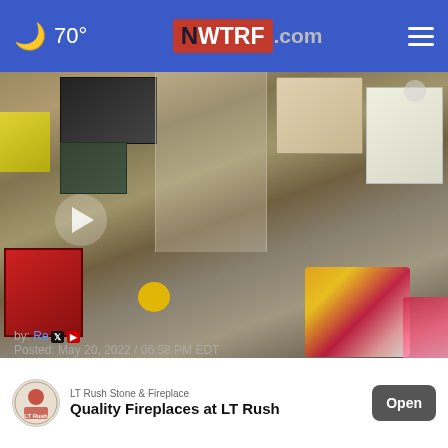🌙 70°  WTRF.com  ☰
[Figure (photo): Video thumbnail showing gift baskets and wrapped items on a table with various product boxes.]
NEWS
Helping Heroes holds 9th annual fundraising event
by: Re [social icons] Posted: May 20, 2022 / 06:58 PM EDT
[Figure (infographic): Advertisement banner: LT Rush Stone & Fireplace - Quality Fireplaces at LT Rush - Open button]